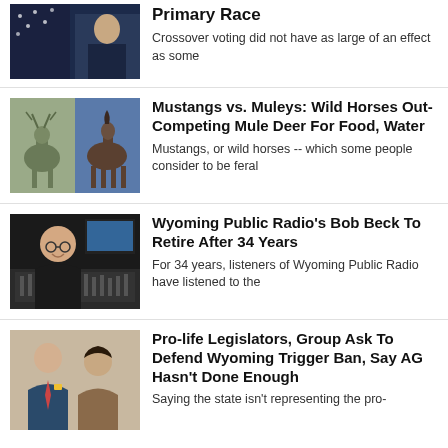[Figure (photo): Person in suit with American flag in background, partially cropped at top]
Impact On Wyoming's Over-House Primary Race
Crossover voting did not have as large of an effect as some
[Figure (photo): Split image: mule deer on left, wild horse on right]
Mustangs vs. Muleys: Wild Horses Out-Competing Mule Deer For Food, Water
Mustangs, or wild horses -- which some people consider to be feral
[Figure (photo): Bald man with glasses sitting in front of radio mixing console]
Wyoming Public Radio's Bob Beck To Retire After 34 Years
For 34 years, listeners of Wyoming Public Radio have listened to the
[Figure (photo): Man in suit and woman standing together, legislators]
Pro-life Legislators, Group Ask To Defend Wyoming Trigger Ban, Say AG Hasn't Done Enough
Saying the state isn't representing the pro-